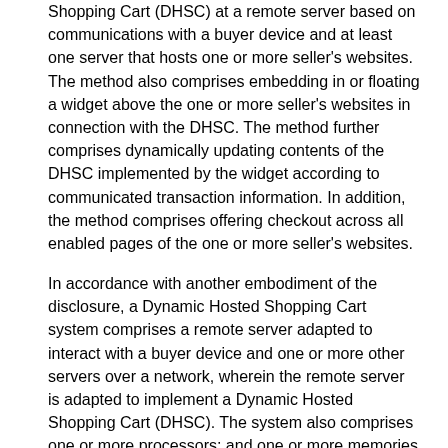Shopping Cart (DHSC) at a remote server based on communications with a buyer device and at least one server that hosts one or more seller's websites. The method also comprises embedding in or floating a widget above the one or more seller's websites in connection with the DHSC. The method further comprises dynamically updating contents of the DHSC implemented by the widget according to communicated transaction information. In addition, the method comprises offering checkout across all enabled pages of the one or more seller's websites.
In accordance with another embodiment of the disclosure, a Dynamic Hosted Shopping Cart system comprises a remote server adapted to interact with a buyer device and one or more other servers over a network, wherein the remote server is adapted to implement a Dynamic Hosted Shopping Cart (DHSC). The system also comprises one or more processors; and one or more memories adapted to store a plurality of machine-readable instructions. When executed by the one or more processors, the plurality of machine-readable instructions are adapted to cause the Dynamic Hosted Shopping Cart system to: configure the DHSC at the remote server based on communications with